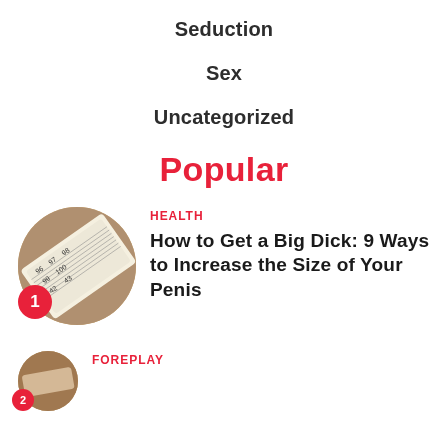Seduction
Sex
Uncategorized
Popular
HEALTH
How to Get a Big Dick: 9 Ways to Increase the Size of Your Penis
[Figure (photo): Circular thumbnail of a measuring tape with visible numbers, with a red badge showing number 1]
FOREPLAY
[Figure (photo): Partial circular thumbnail at bottom of page with a red badge showing number 2]